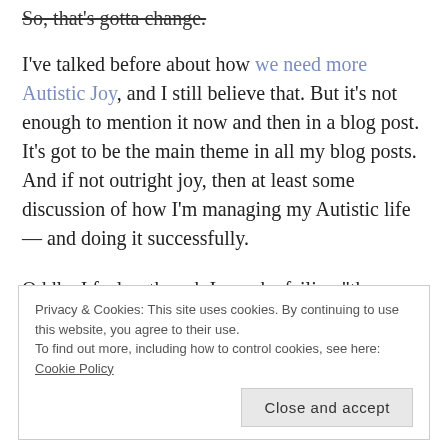So, that's gotta change.
I've talked before about how we need more Autistic Joy, and I still believe that. But it's not enough to mention it now and then in a blog post. It's got to be the main theme in all my blog posts. And if not outright joy, then at least some discussion of how I'm managing my Autistic life — and doing it successfully.
Oddly, I feel as though I may be failing "the cause" as I write this. Because Autistic people are supposed to get
Privacy & Cookies: This site uses cookies. By continuing to use this website, you agree to their use. To find out more, including how to control cookies, see here: Cookie Policy
Close and accept